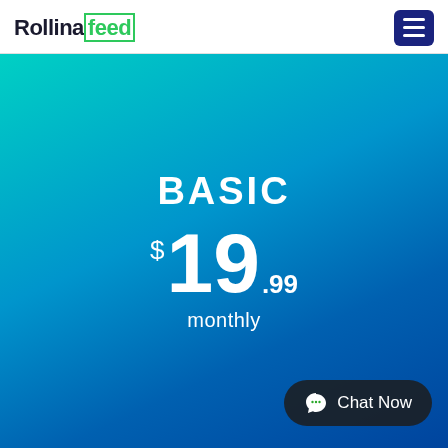Rollinafeed — navigation header with logo and hamburger menu
BASIC
$19.99 monthly
Chat Now